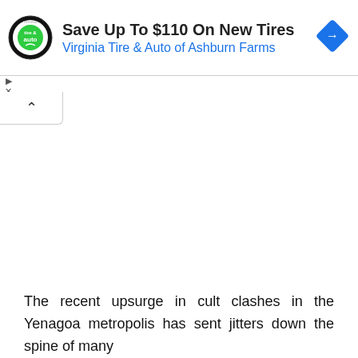[Figure (infographic): Advertisement banner: circular logo for 'tire & auto' Virginia business, headline 'Save Up To $110 On New Tires', subline 'Virginia Tire & Auto of Ashburn Farms', blue diamond navigation icon on the right]
The recent upsurge in cult clashes in the Yenagoa metropolis has sent jitters down the spine of many